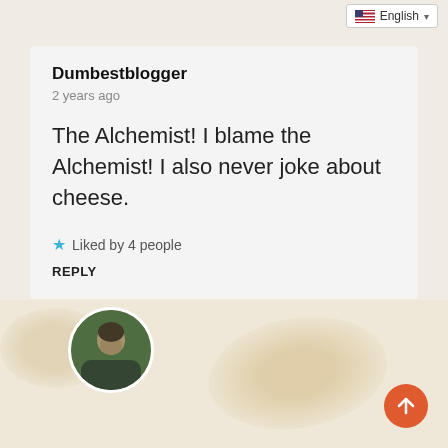English
Dumbestblogger
2 years ago
The Alchemist! I blame the Alchemist! I also never joke about cheese.
★ Liked by 4 people
REPLY
[Figure (photo): Circular avatar photo of a person outdoors with trees in background]
[Figure (illustration): Orange circular scroll-to-top button with upward arrow]